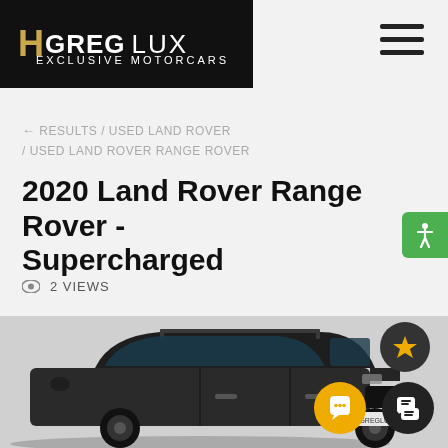[Figure (logo): HGreg Lux Exclusive Motorcars logo on black background]
← RESULTS / USED LAND ROVER / USED LAND ROVER RANGE ROVER
2020 Land Rover Range Rover - Supercharged
2 VIEWS
[Figure (photo): Dark gray 2020 Land Rover Range Rover SUV front three-quarter view]